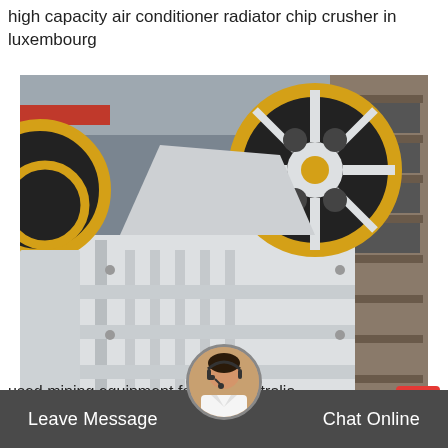high capacity air conditioner radiator chip crusher in luxembourg
[Figure (photo): Large industrial jaw crusher machine in white and yellow paint with black belt/pulley wheel, photographed in a factory/warehouse setting. Multiple units visible.]
used mining equipment for sale australia
Leave Message
Chat Online